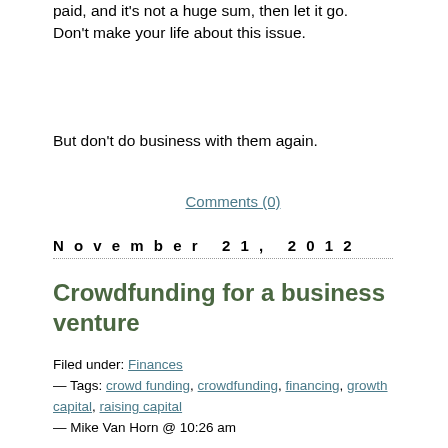paid, and it's not a huge sum, then let it go. Don't make your life about this issue.
But don't do business with them again.
Comments (0)
November 21, 2012
Crowdfunding for a business venture
Filed under: Finances — Tags: crowd funding, crowdfunding, financing, growth capital, raising capital — Mike Van Horn @ 10:26 am